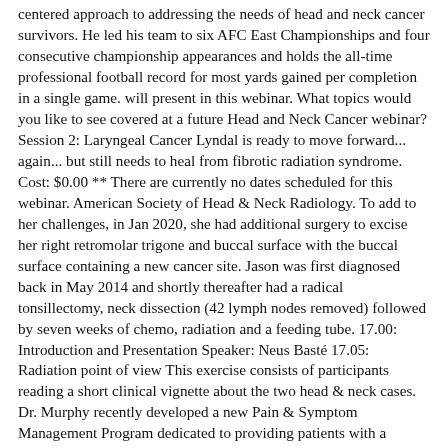centered approach to addressing the needs of head and neck cancer survivors. He led his team to six AFC East Championships and four consecutive championship appearances and holds the all-time professional football record for most yards gained per completion in a single game. will present in this webinar. What topics would you like to see covered at a future Head and Neck Cancer webinar? Session 2: Laryngeal Cancer Lyndal is ready to move forward... again... but still needs to heal from fibrotic radiation syndrome. Cost: $0.00 ** There are currently no dates scheduled for this webinar. American Society of Head & Neck Radiology. To add to her challenges, in Jan 2020, she had additional surgery to excise her right retromolar trigone and buccal surface with the buccal surface containing a new cancer site. Jason was first diagnosed back in May 2014 and shortly thereafter had a radical tonsillectomy, neck dissection (42 lymph nodes removed) followed by seven weeks of chemo, radiation and a feeding tube. 17.00: Introduction and Presentation Speaker: Neus Basté 17.05: Radiation point of view This exercise consists of participants reading a short clinical vignette about the two head & neck cases. Dr. Murphy recently developed a new Pain & Symptom Management Program dedicated to providing patients with a comprehensive and integrative approach to their health care. Description:. The best sleeping position for back pain, neck pain, and sciatica - Tips from a physical therapist - Duration: 12:15. Gail, a retired psychotherapist, resides in Rehoboth Beach,